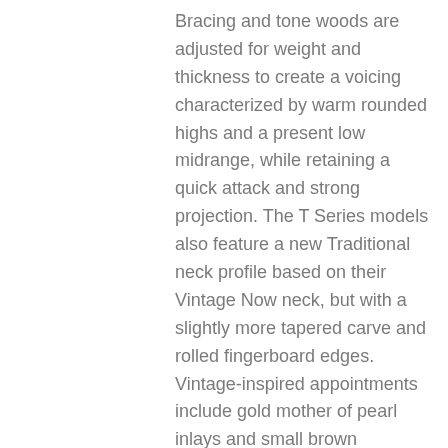Bracing and tone woods are adjusted for weight and thickness to create a voicing characterized by warm rounded highs and a present low midrange, while retaining a quick attack and strong projection. The T Series models also feature a new Traditional neck profile based on their Vintage Now neck, but with a slightly more tapered carve and rolled fingerboard edges. Vintage-inspired appointments include gold mother of pearl inlays and small brown herringbone purfling.
The square-shouldered 14-fret dreadnought is the most popular steel-string acoustic guitar body shape in the world. While Collings is certainly not the first to build them, they bring a new tonal clarity to the depth and warmth usually associated with an dreadnought body description.